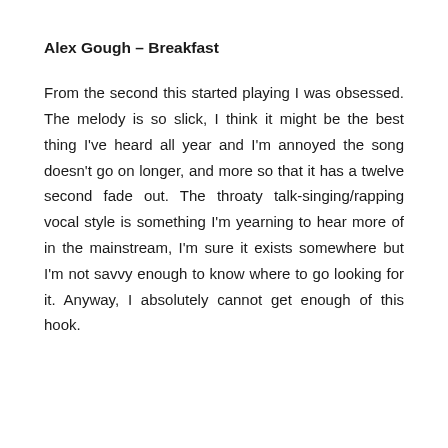Alex Gough – Breakfast
From the second this started playing I was obsessed. The melody is so slick, I think it might be the best thing I've heard all year and I'm annoyed the song doesn't go on longer, and more so that it has a twelve second fade out. The throaty talk-singing/rapping vocal style is something I'm yearning to hear more of in the mainstream, I'm sure it exists somewhere but I'm not savvy enough to know where to go looking for it. Anyway, I absolutely cannot get enough of this hook.